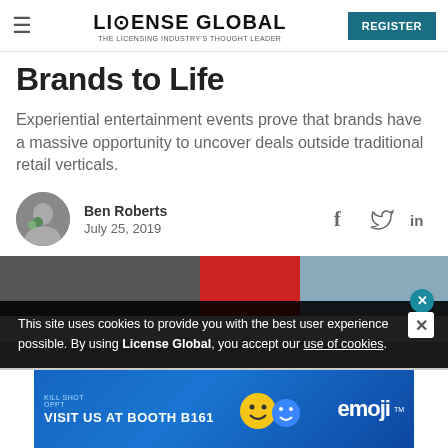LICENSE GLOBAL — THE LICENSING INDUSTRY'S THOUGHT LEADER — REGISTER
Brands to Life
Experiential entertainment events prove that brands have a massive opportunity to uncover deals outside traditional retail verticals.
Ben Roberts
July 25, 2019
[Figure (photo): Article header image, partially visible]
This site uses cookies to provide you with the best user experience possible. By using License Global, you accept our use of cookies.
[Figure (infographic): Advertisement banner: VISIT US AT BOOTH B161 — emoji brand logo, blue background with colorful character illustrations]